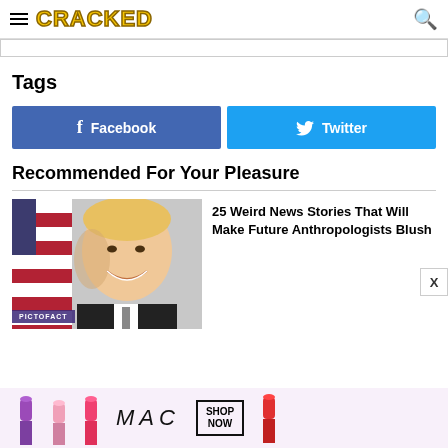CRACKED
Tags
Facebook
Twitter
Recommended For Your Pleasure
[Figure (photo): Photo of a smiling older man with blonde hair in front of an American flag, with PICTOFACT badge]
25 Weird News Stories That Will Make Future Anthropologists Blush
[Figure (photo): MAC cosmetics advertisement showing lipstick products, logo, and SHOP NOW button]